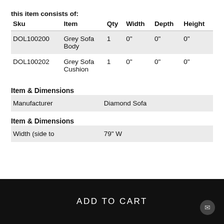this item consists of:
| Sku | Item | Qty | Width | Depth | Height |
| --- | --- | --- | --- | --- | --- |
| DOL100200 | Grey Sofa Body | 1 | 0" | 0" | 0" |
| DOL100202 | Grey Sofa Cushion | 1 | 0" | 0" | 0" |
Item & Dimensions
| Manufacturer | Diamond Sofa |
Item & Dimensions
| Width (side to | 79" W |
ADD TO CART